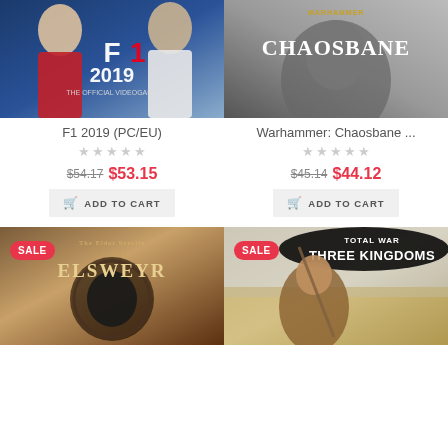[Figure (screenshot): F1 2019 game cover showing two racing drivers and F1 2019 The Official Videogame logo]
[Figure (screenshot): Warhammer Chaosbane game cover with dark fantasy character and Chaosbane logo]
F1 2019 (PC/EU)
Warhammer: Chaosbane ...
$54.17 $53.15
$45.14 $44.12
ADD TO CART
ADD TO CART
[Figure (screenshot): The Elder Scrolls Online Elsweyr game cover with SALE badge and dragon symbol]
[Figure (screenshot): Total War Three Kingdoms game cover with SALE badge and warrior character]